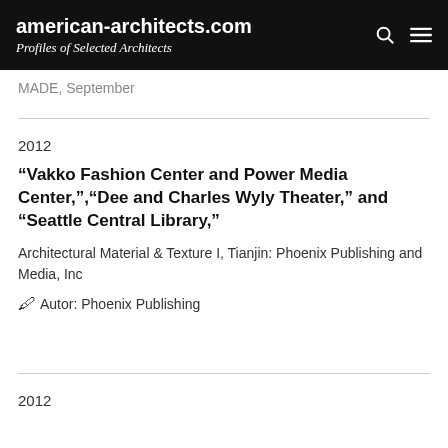american-architects.com
Profiles of Selected Architects
MADE, September
2012
“Vakko Fashion Center and Power Media Center,”,“Dee and Charles Wyly Theater,” and “Seattle Central Library,”
Architectural Material & Texture I, Tianjin: Phoenix Publishing and Media, Inc
Autor: Phoenix Publishing
2012